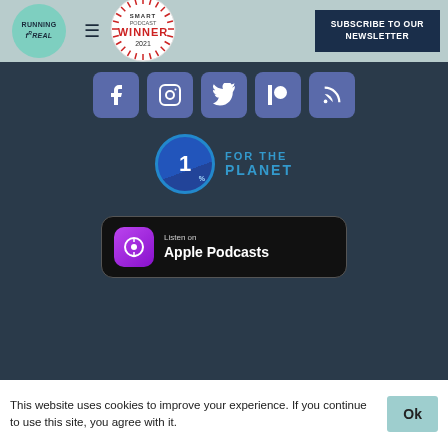[Figure (logo): Running for Real podcast logo - green circle with text]
[Figure (logo): Smart Podcast Player Winner 2021 badge]
[Figure (illustration): SUBSCRIBE TO OUR NEWSLETTER button]
[Figure (illustration): Social media icons row: Facebook, Instagram, Twitter, Patreon, RSS]
[Figure (logo): 1% for the Planet logo]
[Figure (logo): Listen on Apple Podcasts badge]
This website uses cookies to improve your experience. If you continue to use this site, you agree with it.
Ok